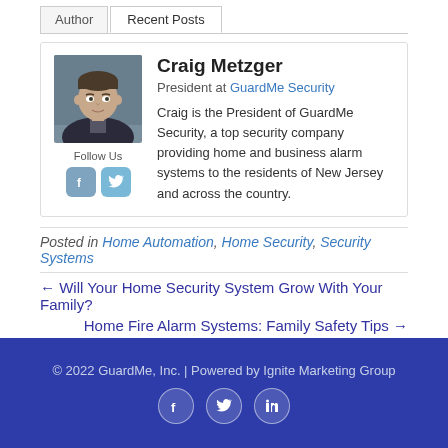Author | Recent Posts
Craig Metzger
President at GuardMe Security
Craig is the President of GuardMe Security, a top security company providing home and business alarm systems to the residents of New Jersey and across the country.
Follow Us
Posted in Home Automation, Home Security, Security Systems
← Will Your Home Security System Grow With Your Family?
Home Fire Alarm Systems: Family Safety Tips →
© 2022 GuardMe, Inc. | Powered by Ignite Marketing Group